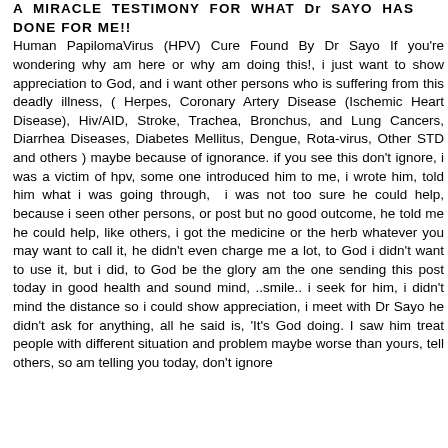A MIRACLE TESTIMONY FOR WHAT Dr SAYO HAS DONE FOR ME!!
Human PapilomaVirus (HPV) Cure Found By Dr Sayo If you're wondering why am here or why am doing this!, i just want to show appreciation to God, and i want other persons who is suffering from this deadly illness, ( Herpes, Coronary Artery Disease (Ischemic Heart Disease), Hiv/AID, Stroke, Trachea, Bronchus, and Lung Cancers, Diarrhea Diseases, Diabetes Mellitus, Dengue, Rota-virus, Other STD and others ) maybe because of ignorance. if you see this don't ignore, i was a victim of hpv, some one introduced him to me, i wrote him, told him what i was going through,  i was not too sure he could help, because i seen other persons, or post but no good outcome, he told me he could help, like others, i got the medicine or the herb whatever you may want to call it, he didn't even charge me a lot, to God i didn't want to use it, but i did, to God be the glory am the one sending this post today in good health and sound mind, ..smile.. i seek for him, i didn't mind the distance so i could show appreciation, i meet with Dr Sayo he didn't ask for anything, all he said is, 'It's God doing. I saw him treat people with different situation and problem maybe worse than yours, tell others, so am telling you today, don't ignore